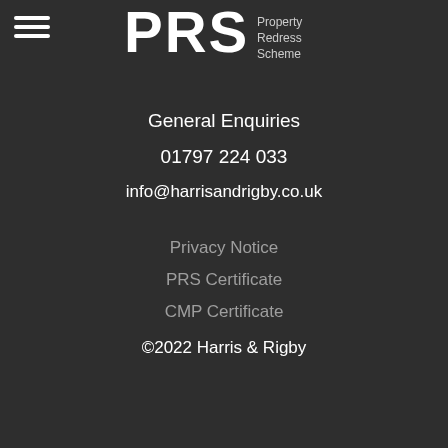[Figure (logo): PRS Property Redress Scheme logo — white bold PRS text with 'Property Redress Scheme' text to the right]
General Enquiries
01797 224 033
info@harrisandrigby.co.uk
Privacy Notice
PRS Certificate
CMP Certificate
©2022 Harris & Rigby